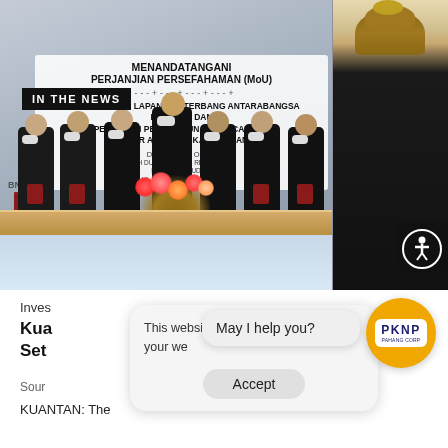[Figure (photo): Group photo at a formal MOU signing ceremony. Several men in formal attire and face masks stand behind a table with red folders/documents. A floral arrangement is on the table. A backdrop banner reads 'MENANDATANGANI PERJANJIAN PERSEFAHAMAN (MoU) PEMBANGUNAN LAPANGAN TERBANG ANTARABANGSA KUANTAN DAN PEMAJUAN PEMBANGUNAN BERCAMPUR BANDAR AERO ANGKASA PAHANG'. An 'IN THE NEWS' label overlay and an accessibility button are visible.]
Inves
Kua
Set
Sour
KUANTAN: The
This website use                         ro
your we
May I help you?
Accept